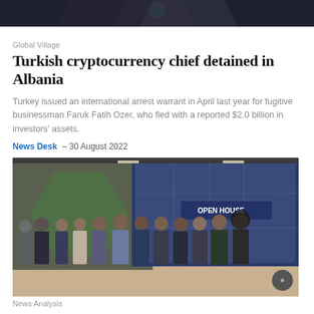[Figure (photo): Dark abstract hexagonal background image at top of article]
Global Village
Turkish cryptocurrency chief detained in Albania
Turkey issued an international arrest warrant in April last year for fugitive businessman Faruk Fatih Ozer, who fled with a reported $2.0 billion in investors' assets.
News Desk  – 30 August 2022
[Figure (photo): Group photo of approximately 12 people standing in front of a branded backdrop reading 'OPEN HOUSE' inside an office or event space. A woman wearing a patterned hijab stands on the right.]
News Analysis